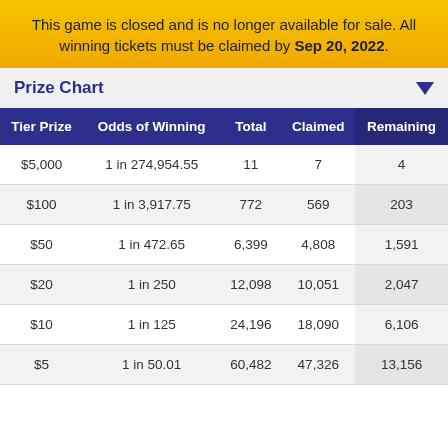This game is closed and is no longer available for sale. All winning tickets must be claimed by Sep 20, 2022.
Prize Chart
| Tier Prize | Odds of Winning | Total | Claimed | Remaining |
| --- | --- | --- | --- | --- |
| $5,000 | 1 in 274,954.55 | 11 | 7 | 4 |
| $100 | 1 in 3,917.75 | 772 | 569 | 203 |
| $50 | 1 in 472.65 | 6,399 | 4,808 | 1,591 |
| $20 | 1 in 250 | 12,098 | 10,051 | 2,047 |
| $10 | 1 in 125 | 24,196 | 18,090 | 6,106 |
| $5 | 1 in 50.01 | 60,482 | 47,326 | 13,156 |